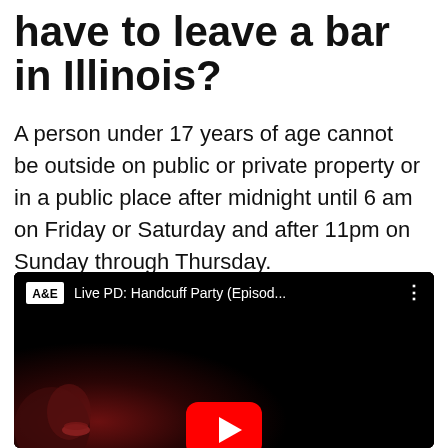have to leave a bar in Illinois?
A person under 17 years of age cannot be outside on public or private property or in a public place after midnight until 6 am on Friday or Saturday and after 11pm on Sunday through Thursday.
[Figure (screenshot): YouTube video embed showing A&E channel video titled 'Live PD: Handcuff Party (Episod...' with a dark thumbnail showing a face silhouette and a red YouTube play button]